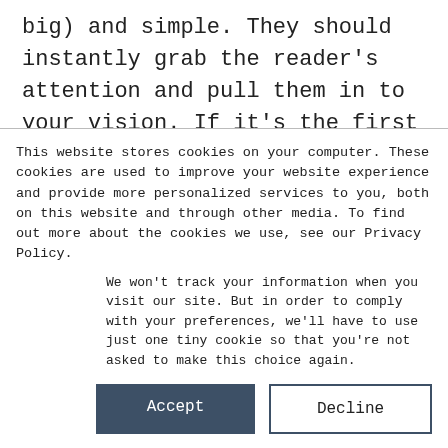big) and simple. They should instantly grab the reader's attention and pull them in to your vision. If it's the first time people are seeing your brand, the headline should be simple and to-the-point.

Pro-tip: Run your headlines by trusted friends to make sure they understand what you are trying to convey and that your headline packs the
This website stores cookies on your computer. These cookies are used to improve your website experience and provide more personalized services to you, both on this website and through other media. To find out more about the cookies we use, see our Privacy Policy.
We won't track your information when you visit our site. But in order to comply with your preferences, we'll have to use just one tiny cookie so that you're not asked to make this choice again.
Accept
Decline